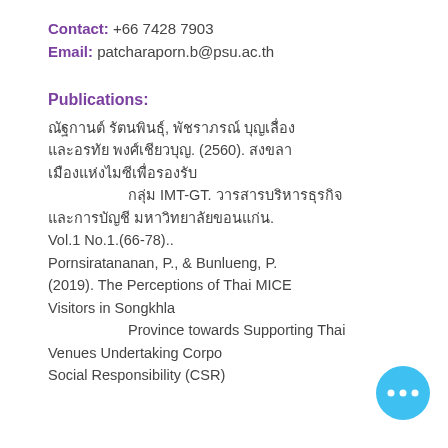Contact: +66 7428 7903
Email: patcharaporn.b@psu.ac.th
Publications:
ณัฐกานต์ รัตนพินธุ์, พัชราภรณ์ บุญเลื่อง และอรทัย พงศ์เชียวบุญ. (2560). สงขลา เมืองแห่งไมซีเพื่อรองรับ กลุ่ม IMT-GT. วารสารบริหารธุรกิจ และการบัญชี มหาวิทยาลัยขอนแก่น. Vol.1 No.1.(66-78)..
Pornsiratananan, P., & Bunlueng, P. (2019). The Perceptions of Thai MICE Visitors in Songkhla Province towards Supporting Thai Venues Undertaking Corporate Social Responsibility (CSR)